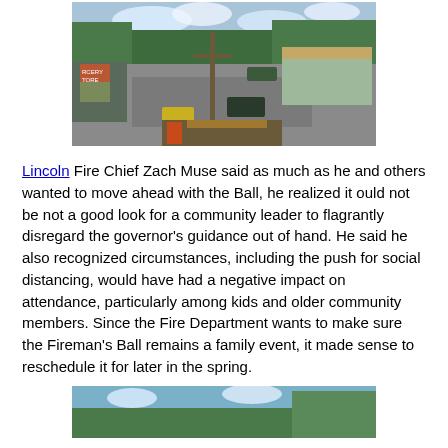[Figure (photo): Aerial or elevated view of a small town intersection with a grocery store, parking lot, cars, utility poles, and pine trees in the background under a partly cloudy sky.]
Lincoln Fire Chief Zach Muse said as much as he and others wanted to move ahead with the Ball, he realized it ould not be not a good look for a community leader to flagrantly disregard the governor's guidance out of hand. He said he also recognized circumstances, including the push for social distancing, would have had a negative impact on attendance, particularly among kids and older community members. Since the Fire Department wants to make sure the Fireman's Ball remains a family event, it made sense to reschedule it for later in the spring.
[Figure (photo): Bottom portion of another outdoor photo showing blue sky and trees.]